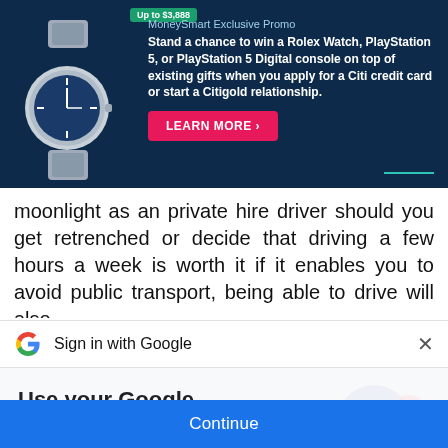[Figure (infographic): MoneySmart Exclusive Promo banner ad featuring a Rolex watch image, promotion text about winning prizes with Citi credit card, and a Learn More button on a dark navy background]
moonlight as an private hire driver should you get retrenched or decide that driving a few hours a week is worth it if it enables you to avoid public transport, being able to drive will also
[Figure (screenshot): Sign in with Google bar showing Google G logo, text 'Sign in with Google', and an X close button]
Use your Google Account to sign in to MoneySmart
No more passwords to remember.
Signing in is fast, simple and secure.
[Figure (illustration): Colorful key illustration with blue, green, red and yellow circular elements]
Continue